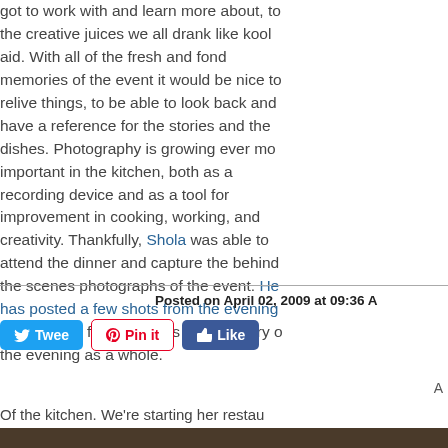got to work with and learn more about, to the creative juices we all drank like kool aid. With all of the fresh and fond memories of the event it would be nice to relive things, to be able to look back and have a reference for the stories and the dishes. Photography is growing ever more important in the kitchen, both as a recording device and as a tool for improvement in cooking, working, and creativity. Thankfully, Shola was able to attend the dinner and capture the behind the scenes photographs of the event. He has posted a few shots from the evening and we look forward to his commentary on the evening as a whole.
Posted on April 02, 2009 at 09:36 AM
[Figure (screenshot): Social media buttons: Tweet (Twitter/blue), Pin it (Pinterest/white with red border), Like (Facebook/blue)]
Of the kitchen. We're starting her restau...
[Figure (photo): Dark/brown colored photo of a kitchen scene, partially visible at bottom of page]